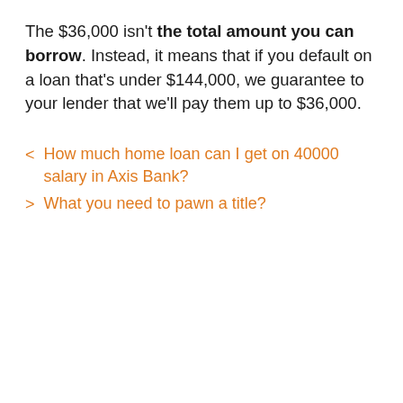The $36,000 isn't the total amount you can borrow. Instead, it means that if you default on a loan that's under $144,000, we guarantee to your lender that we'll pay them up to $36,000.
< How much home loan can I get on 40000 salary in Axis Bank?
> What you need to pawn a title?